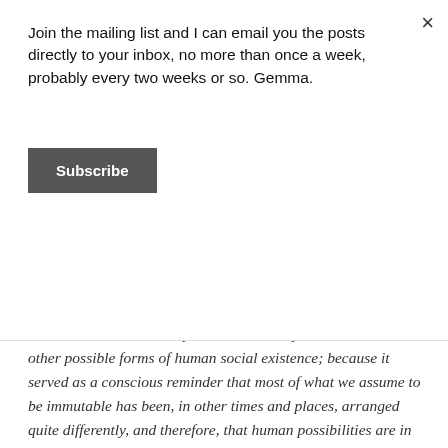Join the mailing list and I can email you the posts directly to your inbox, no more than once a week, probably every two weeks or so. Gemma.
Subscribe
can be more than just a job. This quote by David Graeber puts it so well:
“I was drawn to the discipline because it opens windows on other possible forms of human social existence; because it served as a conscious reminder that most of what we assume to be immutable has been, in other times and places, arranged quite differently, and therefore, that human possibilities are in almost every way greater than we ordinarily imagine.” From Possibilities: Essays on Hierarchy, Rebellion, and